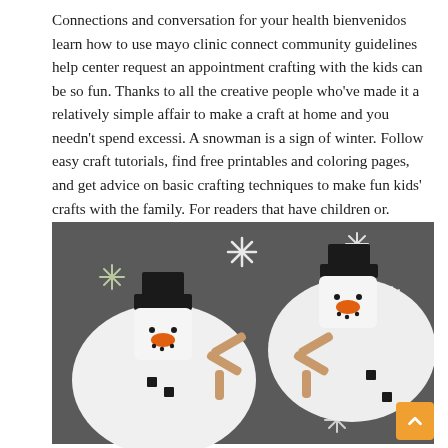Connections and conversation for your health bienvenidos learn how to use mayo clinic connect community guidelines help center request an appointment crafting with the kids can be so fun. Thanks to all the creative people who've made it a relatively simple affair to make a craft at home and you needn't spend excessi. A snowman is a sign of winter. Follow easy craft tutorials, find free printables and coloring pages, and get advice on basic crafting techniques to make fun kids' crafts with the family. For readers that have children or.
[Figure (photo): Photo of two felt snowman crafts made from white felt circles and square marshmallow-like heads with black hat pieces, orange carrot noses, black dot eyes and mouths, tan felt stick arms arranged in a Y shape, and small black felt buttons. Dark gray background scattered with white and light green paper snowflakes.]